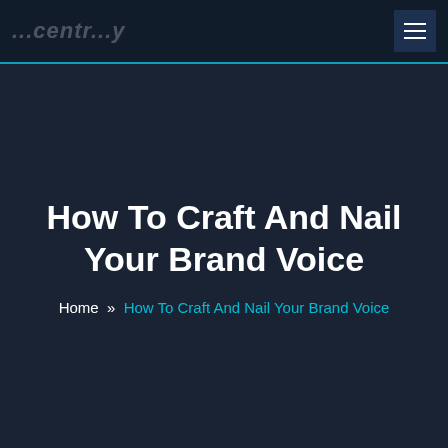...centr...y
How To Craft And Nail Your Brand Voice
Home » How To Craft And Nail Your Brand Voice